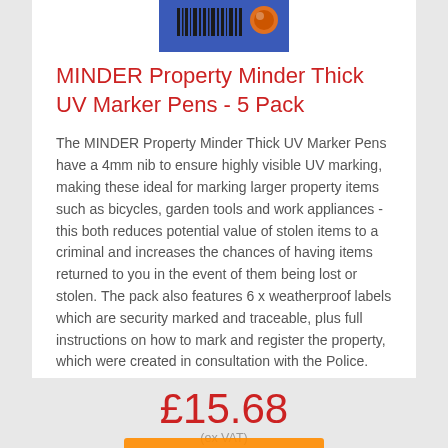[Figure (photo): Product image of MINDER Property Minder Thick UV Marker Pens 5 Pack, partially visible at the top of the card, showing the blue packaging with marker pens.]
MINDER Property Minder Thick UV Marker Pens - 5 Pack
The MINDER Property Minder Thick UV Marker Pens have a 4mm nib to ensure highly visible UV marking, making these ideal for marking larger property items such as bicycles, garden tools and work appliances - this both reduces potential value of stolen items to a criminal and increases the chances of having items returned to you in the event of them being lost or stolen. The pack also features 6 x weatherproof labels which are security marked and traceable, plus full instructions on how to mark and register the property, which were created in consultation with the Police.
£15.68
(ex VAT)
In Stock